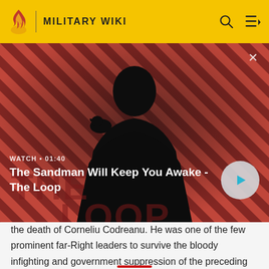MILITARY WIKI
[Figure (screenshot): Video thumbnail showing a man in black with a crow on his shoulder against a diagonal red and dark striped background, with 'THE LOOP' text overlay. Video title: 'The Sandman Will Keep You Awake - The Loop'. Duration: 01:40.]
WATCH • 01:40
The Sandman Will Keep You Awake - The Loop
the death of Corneliu Codreanu. He was one of the few prominent far-Right leaders to survive the bloody infighting and government suppression of the preceding years.